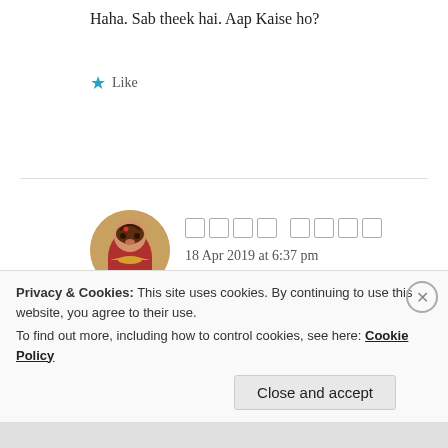Haha. Sab theek hai. Aap Kaise ho?
★ Like
□□□□ □□□□
18 Apr 2019 at 6:37 pm
[Figure (photo): Circular avatar image of a woman in traditional Indian attire (red saree with jewellery)]
Ek dum bhadiya. beta mei in sab bato k liye nhi hun bs kabhi thoda mazak kr leta hun baki muihe koi intrest nhi inme
Privacy & Cookies: This site uses cookies. By continuing to use this website, you agree to their use.
To find out more, including how to control cookies, see here: Cookie Policy
Close and accept